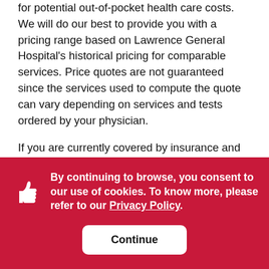for potential out-of-pocket health care costs. We will do our best to provide you with a pricing range based on Lawrence General Hospital's historical pricing for comparable services. Price quotes are not guaranteed since the services used to compute the quote can vary depending on services and tests ordered by your physician.
If you are currently covered by insurance and would like a cost estimate, please contact your insurance provider by calling the telephone number on the back of your member identification card. You may also locate your insurance provider's phone number by clicking on our link
By continuing to browse, you consent to our use of cookies. To know more, please refer to our Privacy Policy.
Continue